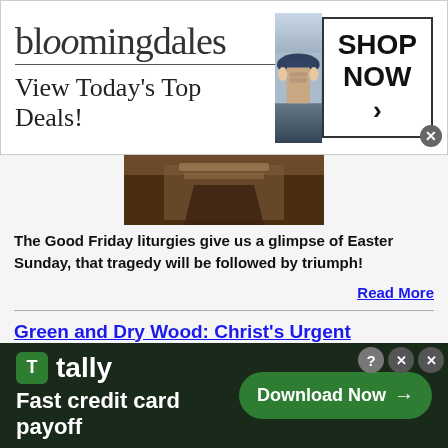[Figure (screenshot): Bloomingdales advertisement banner: logo text, 'View Today's Top Deals!', woman with hat, SHOP NOW > button]
[Figure (photo): Partial image of a dark religious/historical painting]
The Good Friday liturgies give us a glimpse of Easter Sunday, that tragedy will be followed by triumph!
Read More
Green and Dry Wood: Christ's Urgent Message on His Way to Calvary
Apr 11, 22 03:30 PM
[Figure (photo): Dark dramatic painting showing fire and destruction, possibly depicting a historical or biblical scene]
[Figure (screenshot): Tally app advertisement: 'Fast credit card payoff' with Download Now button, dark green background]